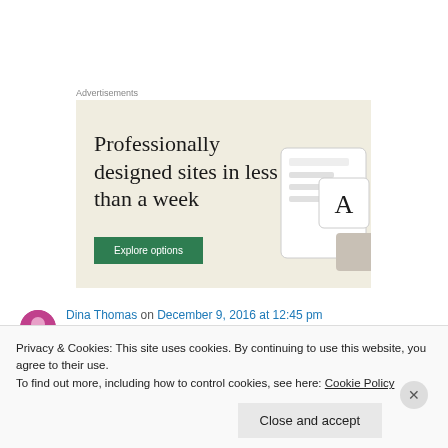Advertisements
[Figure (screenshot): Advertisement banner with beige background showing text 'Professionally designed sites in less than a week' with a green 'Explore options' button and decorative UI screenshots on the right]
Dina Thomas on December 9, 2016 at 12:45 pm
Privacy & Cookies: This site uses cookies. By continuing to use this website, you agree to their use.
To find out more, including how to control cookies, see here: Cookie Policy